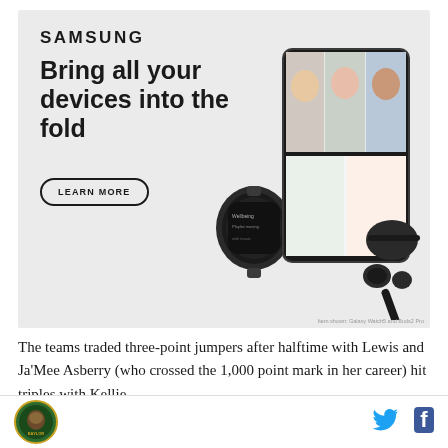[Figure (illustration): Samsung advertisement banner with Samsung logo, headline 'Bring all your devices into the fold', a 'LEARN MORE' button, and images of Samsung Galaxy devices including a smartwatch, foldable phone showing a video call, wireless earbuds, and S Pen stylus on a light gray background.]
The teams traded three-point jumpers after halftime with Lewis and Ja'Mee Asberry (who crossed the 1,000 point mark in her career) hit triples with Kellie
[Figure (logo): Circular logo with a cartoon gorilla in green and gold, appears to be a sports team logo]
[Figure (logo): Twitter bird icon in blue]
[Figure (logo): Facebook 'f' icon in dark blue/navy]